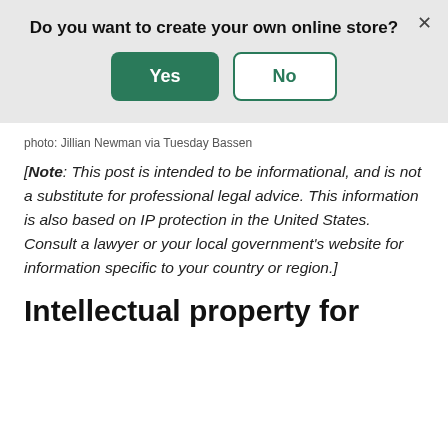[Figure (screenshot): A modal dialog box with a grey background asking 'Do you want to create your own online store?' with a green 'Yes' button and a white 'No' button with a green border, and an X close button in the top right.]
photo: Jillian Newman via Tuesday Bassen
[Note: This post is intended to be informational, and is not a substitute for professional legal advice. This information is also based on IP protection in the United States. Consult a lawyer or your local government's website for information specific to your country or region.]
Intellectual property for